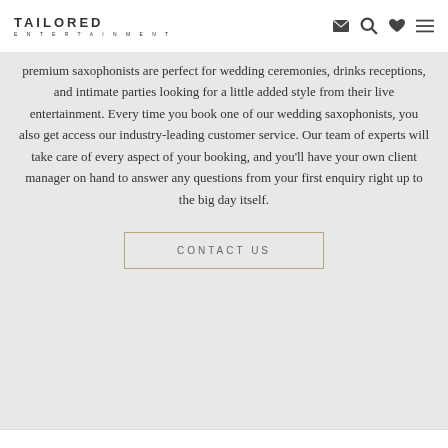TAILORED ENTERTAINMENT
premium saxophonists are perfect for wedding ceremonies, drinks receptions, and intimate parties looking for a little added style from their live entertainment. Every time you book one of our wedding saxophonists, you also get access our industry-leading customer service. Our team of experts will take care of every aspect of your booking, and you'll have your own client manager on hand to answer any questions from your first enquiry right up to the big day itself.
CONTACT US